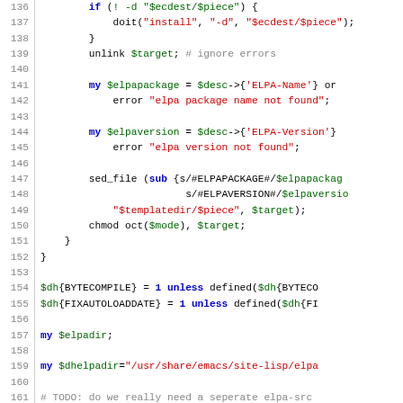[Figure (screenshot): Source code listing in Perl showing lines 136-166 with syntax highlighting. Line numbers on the left, code with green variables, red strings, blue keywords, and gray comments.]